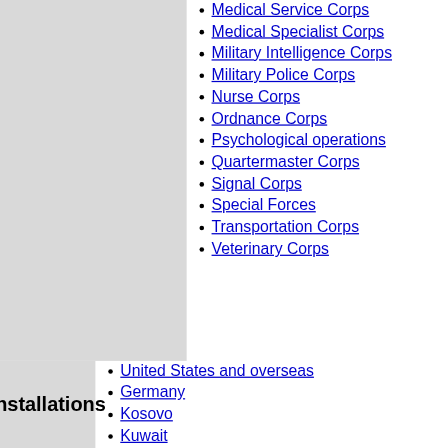Medical Service Corps
Medical Specialist Corps
Military Intelligence Corps
Military Police Corps
Nurse Corps
Ordnance Corps
Psychological operations
Quartermaster Corps
Signal Corps
Special Forces
Transportation Corps
Veterinary Corps
Installations
United States and overseas
Germany
Kosovo
Kuwait
South Korea